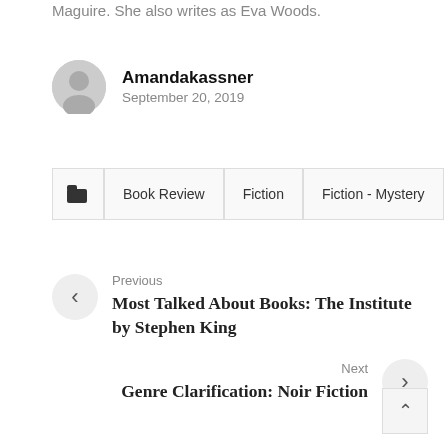Maguire. She also writes as Eva Woods.
Amandakassner
September 20, 2019
Book Review   Fiction   Fiction - Mystery
Previous
Most Talked About Books: The Institute by Stephen King
Next
Genre Clarification: Noir Fiction